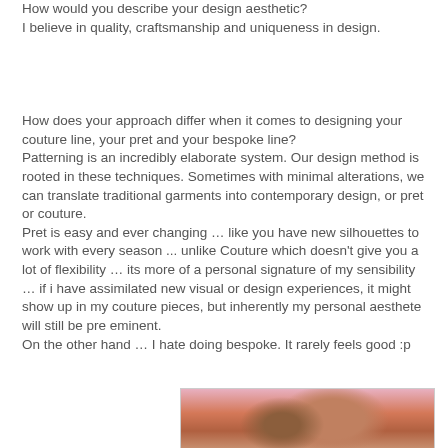How would you describe your design aesthetic?
I believe in quality, craftsmanship and uniqueness in design.
How does your approach differ when it comes to designing your couture line, your pret and your bespoke line?
Patterning is an incredibly elaborate system. Our design method is rooted in these techniques. Sometimes with minimal alterations, we can translate traditional garments into contemporary design, or pret or couture.
Pret is easy and ever changing … like you have new silhouettes to work with every season ... unlike Couture which doesn't give you a lot of flexibility … its more of a personal signature of my sensibility … if i have assimilated new visual or design experiences, it might show up in my couture pieces, but inherently my personal aesthete will still be pre eminent.
On the other hand … I hate doing bespoke. It rarely feels good :p
[Figure (photo): A close-up photograph showing hands, possibly working on fabric or a design element, with a pink/colorful background.]